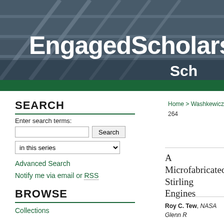[Figure (photo): Banner photo of a modern building with glass facade, overlaid with bold white text reading 'EngagedScholarship@' and 'Sch']
EngagedScholarship@
Sch
SEARCH
Enter search terms:
in this series
Advanced Search
Notify me via email or RSS
BROWSE
Collections
Home > Washkewicz College of E
264
A Microfabricated Stirling Engines
Roy C. Tew, NASA Glenn R